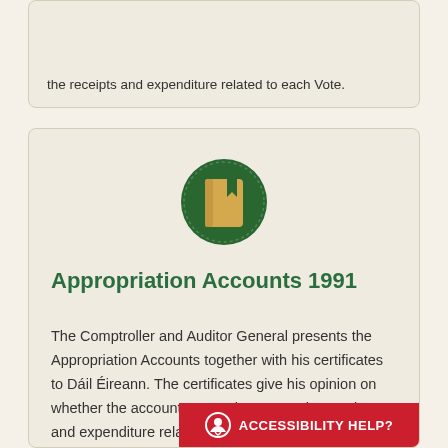the receipts and expenditure related to each Vote.
[Figure (illustration): Book icon with bookmark on a dark green circular background with dotted border]
Appropriation Accounts 1991
The Comptroller and Auditor General presents the Appropriation Accounts together with his certificates to Dáil Éireann. The certificates give his opinion on whether the accounts properly present the receipts and expenditure related to each Vote.